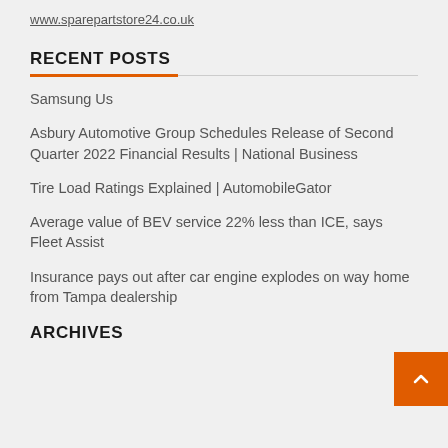www.sparepartstore24.co.uk
RECENT POSTS
Samsung Us
Asbury Automotive Group Schedules Release of Second Quarter 2022 Financial Results | National Business
Tire Load Ratings Explained | AutomobileGator
Average value of BEV service 22% less than ICE, says Fleet Assist
Insurance pays out after car engine explodes on way home from Tampa dealership
ARCHIVES